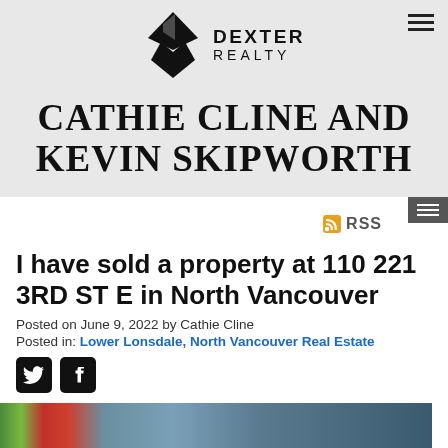DEXTER REALTY
CATHIE CLINE AND KEVIN SKIPWORTH
[Figure (other): RSS icon and dark menu button]
I have sold a property at 110 221 3RD ST E in North Vancouver
Posted on June 9, 2022 by Cathie Cline
Posted in: Lower Lonsdale, North Vancouver Real Estate
[Figure (other): Twitter and Facebook social media icons]
[Figure (photo): Property photo showing building exterior at 110 221 3RD ST E in North Vancouver]